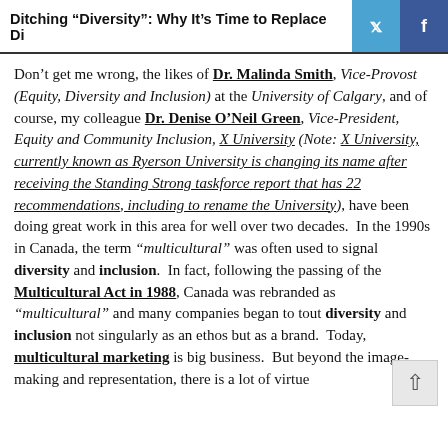Ditching “Diversity”: Why It’s Time to Replace Di
Don’t get me wrong, the likes of Dr. Malinda Smith, Vice-Provost (Equity, Diversity and Inclusion) at the University of Calgary, and of course, my colleague Dr. Denise O’Neil Green, Vice-President, Equity and Community Inclusion, X University (Note: X University, currently known as Ryerson University is changing its name after receiving the Standing Strong taskforce report that has 22 recommendations, including to rename the University), have been doing great work in this area for well over two decades.  In the 1990s in Canada, the term “multicultural” was often used to signal diversity and inclusion.  In fact, following the passing of the Multicultural Act in 1988, Canada was rebranded as “multicultural” and many companies began to tout diversity and inclusion not singularly as an ethos but as a brand.  Today, multicultural marketing is big business.  But beyond the image-making and representation, there is a lot of virtue